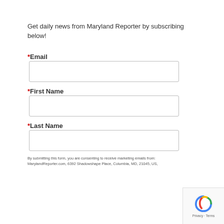Get daily news from Maryland Reporter by subscribing below!
* Email
* First Name
* Last Name
By submitting this form, you are consenting to receive marketing emails from: MarylandReporter.com, 6392 Shadowshape Place, Columbia, MD, 21045, US,